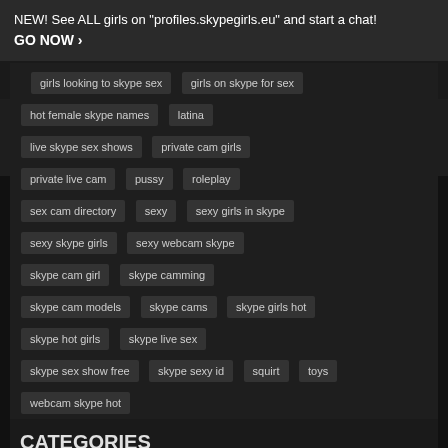NEW! See ALL girls on "profiles.skypegirls.eu" and start a chat! GO NOW ›
girls looking to skype sex
girls on skype for sex
hot female skype names
latina
live skype sex shows
private cam girls
private live cam
pussy
roleplay
sex cam directory
sexy
sexy girls in skype
sexy skype girls
sexy webcam skype
skype cam girl
skype camming
skype cam models
skype cams
skype girls hot
skype hot girls
skype live sex
skype sex show free
skype sexy id
squirt
toys
webcam skype hot
CATEGORIES